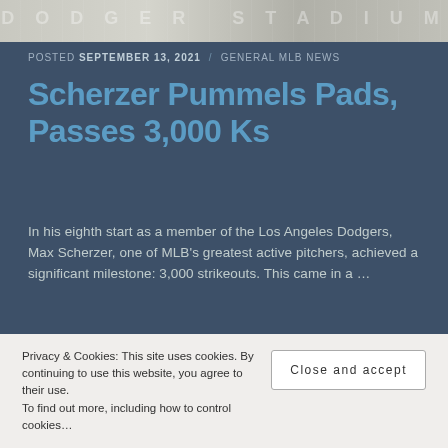[Figure (photo): Partial view of a stadium exterior with large letters, muted grey-blue tones]
POSTED SEPTEMBER 13, 2021 / GENERAL MLB NEWS
Scherzer Pummels Pads, Passes 3,000 Ks
In his eighth start as a member of the Los Angeles Dodgers, Max Scherzer, one of MLB's greatest active pitchers, achieved a significant milestone: 3,000 strikeouts. This came in a …
Continue Reading
[Figure (photo): Interior room scene with warm sunlight through windows, dark furniture silhouettes]
Privacy & Cookies: This site uses cookies. By continuing to use this website, you agree to their use.
To find out more, including how to control cookies…